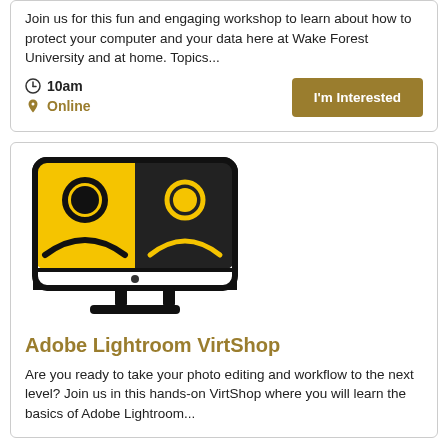Join us for this fun and engaging workshop to learn about how to protect your computer and your data here at Wake Forest University and at home. Topics...
10am
Online
[Figure (illustration): Online meeting icon showing a computer monitor with two user avatar icons - one on yellow background, one on black background - with monitor stand]
Adobe Lightroom VirtShop
Are you ready to take your photo editing and workflow to the next level? Join us in this hands-on VirtShop where you will learn the basics of Adobe Lightroom...